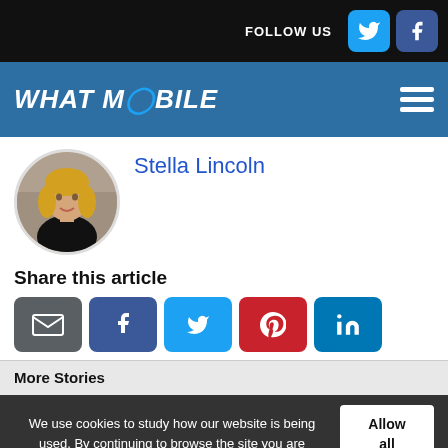FOLLOW US [Twitter] [Facebook]
WHAT MOBILE
Stella Lincoln
[Figure (photo): Circular profile photo of Stella Lincoln, a woman with blonde hair wearing a black top]
Share this article
Share buttons: Email, Facebook, Twitter, Pinterest, LinkedIn
More Stories
We use cookies to study how our website is being used. By continuing to browse the site you are agreeing to our use of cookies.
Allow all cookies